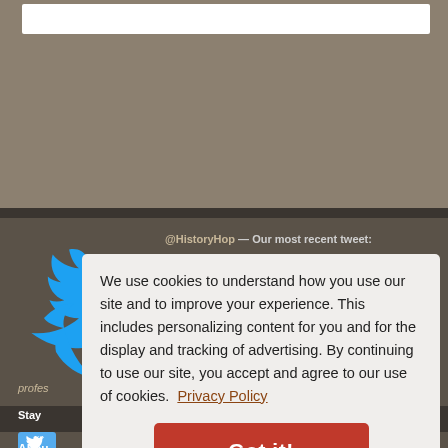[Figure (screenshot): Top portion of a website showing a white search/input box on a tan/khaki background]
[Figure (logo): Twitter bird logo in cyan/blue color on dark brownish background]
@HistoryHop — Our most recent tweet:
Divorced #OnThisDay (2010): Former
profes
Stay
About
We use cookies to understand how you use our site and to improve your experience. This includes personalizing content for you and for the display and tracking of advertising. By continuing to use our site, you accept and agree to our use of cookies. Privacy Policy
Got it!